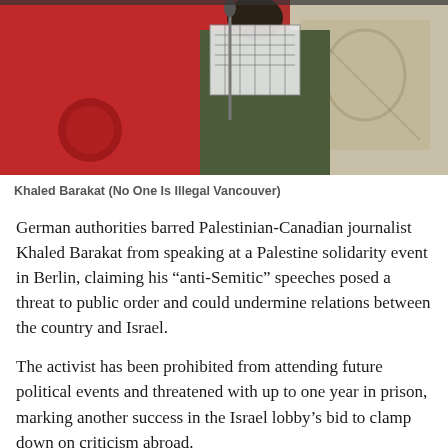[Figure (photo): Photo of Khaled Barakat speaking at a microphone, wearing a keffiyeh scarf and dark jacket, with a red banner/flag in the foreground and graffiti wall art in the background.]
Khaled Barakat (No One Is Illegal Vancouver)
German authorities barred Palestinian-Canadian journalist Khaled Barakat from speaking at a Palestine solidarity event in Berlin, claiming his “anti-Semitic” speeches posed a threat to public order and could undermine relations between the country and Israel.
The activist has been prohibited from attending future political events and threatened with up to one year in prison, marking another success in the Israel lobby’s bid to clamp down on criticism abroad.